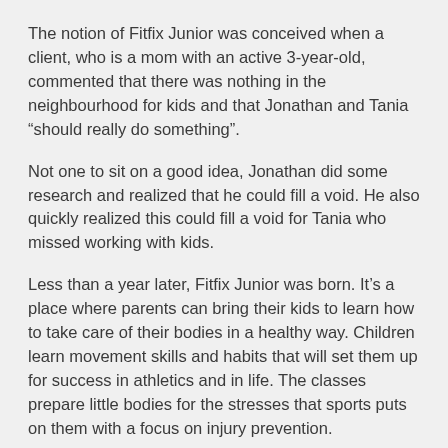The notion of Fitfix Junior was conceived when a client, who is a mom with an active 3-year-old, commented that there was nothing in the neighbourhood for kids and that Jonathan and Tania “should really do something”.
Not one to sit on a good idea, Jonathan did some research and realized that he could fill a void. He also quickly realized this could fill a void for Tania who missed working with kids.
Less than a year later, Fitfix Junior was born. It’s a place where parents can bring their kids to learn how to take care of their bodies in a healthy way. Children learn movement skills and habits that will set them up for success in athletics and in life. The classes prepare little bodies for the stresses that sports puts on them with a focus on injury prevention.